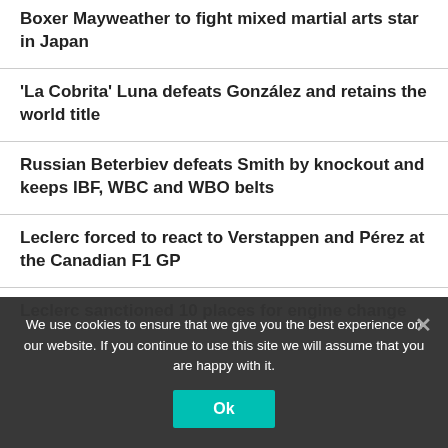Boxer Mayweather to fight mixed martial arts star in Japan
'La Cobrita' Luna defeats González and retains the world title
Russian Beterbiev defeats Smith by knockout and keeps IBF, WBC and WBO belts
Leclerc forced to react to Verstappen and Pérez at the Canadian F1 GP
Leclerc sanctioned 10 places for engine change
We use cookies to ensure that we give you the best experience on our website. If you continue to use this site we will assume that you are happy with it.